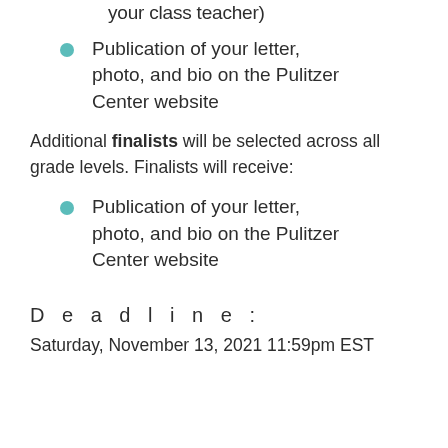your class teacher)
Publication of your letter, photo, and bio on the Pulitzer Center website
Additional finalists will be selected across all grade levels. Finalists will receive:
Publication of your letter, photo, and bio on the Pulitzer Center website
Deadline:
Saturday, November 13, 2021 11:59pm EST